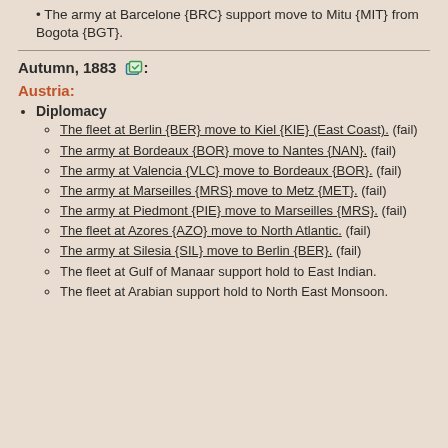The army at Barcelone {BRC} support move to Mitu {MIT} from Bogota {BGT}.
Autumn, 1883 [icon]:
Austria:
Diplomacy
The fleet at Berlin {BER} move to Kiel {KIE} (East Coast). (fail)
The army at Bordeaux {BOR} move to Nantes {NAN}. (fail)
The army at Valencia {VLC} move to Bordeaux {BOR}. (fail)
The army at Marseilles {MRS} move to Metz {MET}. (fail)
The army at Piedmont {PIE} move to Marseilles {MRS}. (fail)
The fleet at Azores {AZO} move to North Atlantic. (fail)
The army at Silesia {SIL} move to Berlin {BER}. (fail)
The fleet at Gulf of Manaar support hold to East Indian.
The fleet at Arabian support hold to North East Monsoon.